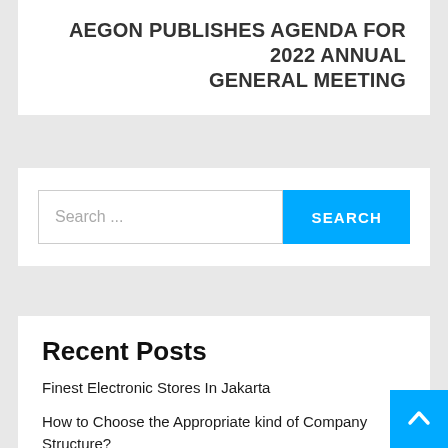AEGON PUBLISHES AGENDA FOR 2022 ANNUAL GENERAL MEETING
[Figure (other): Search bar with text input field showing 'Search ...' placeholder and a blue SEARCH button]
Recent Posts
Finest Electronic Stores In Jakarta
How to Choose the Appropriate kind of Company Structure?
Risky Business: Parents, Beware When You Make Your Kids Into Influencers